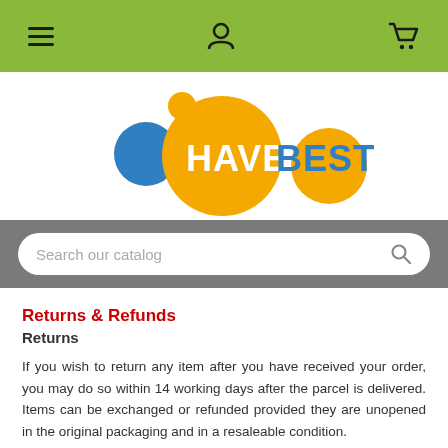[Figure (screenshot): Green navigation bar with hamburger menu icon, user/account icon, and shopping cart icon]
[Figure (logo): HaveBest logo with orange and blue circles and HAVEBEST text]
[Figure (screenshot): Search bar with placeholder text 'Search our catalog' and magnifying glass icon on grey background]
Returns & Refunds
Returns
If you wish to return any item after you have received your order, you may do so within 14 working days after the parcel is delivered. Items can be exchanged or refunded provided they are unopened in the original packaging and in a resaleable condition.